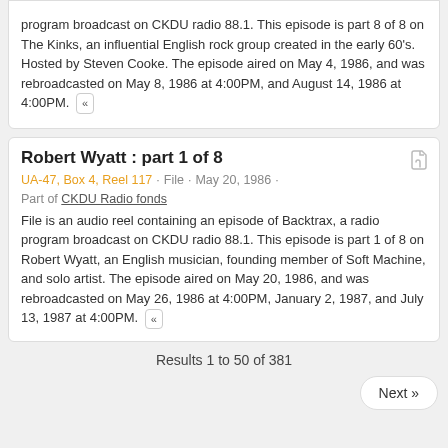program broadcast on CKDU radio 88.1. This episode is part 8 of 8 on The Kinks, an influential English rock group created in the early 60's. Hosted by Steven Cooke. The episode aired on May 4, 1986, and was rebroadcasted on May 8, 1986 at 4:00PM, and August 14, 1986 at 4:00PM. «
Robert Wyatt : part 1 of 8
UA-47, Box 4, Reel 117 · File · May 20, 1986 · Part of CKDU Radio fonds
File is an audio reel containing an episode of Backtrax, a radio program broadcast on CKDU radio 88.1. This episode is part 1 of 8 on Robert Wyatt, an English musician, founding member of Soft Machine, and solo artist. The episode aired on May 20, 1986, and was rebroadcasted on May 26, 1986 at 4:00PM, January 2, 1987, and July 13, 1987 at 4:00PM. «
Results 1 to 50 of 381
Next »